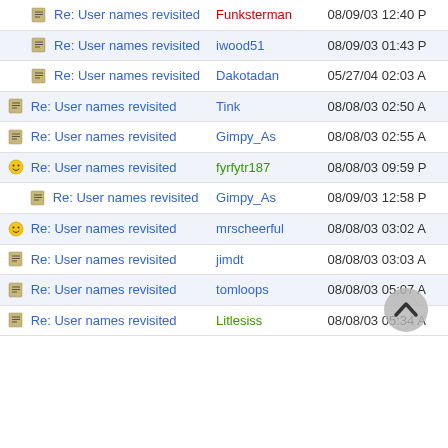| Title | Author | Date |
| --- | --- | --- |
| Re: User names revisited | Funksterman | 08/09/03 12:40 P |
| Re: User names revisited | iwood51 | 08/09/03 01:43 P |
| Re: User names revisited | Dakotadan | 05/27/04 02:03 A |
| Re: User names revisited | Tink | 08/08/03 02:50 A |
| Re: User names revisited | Gimpy_As | 08/08/03 02:55 A |
| Re: User names revisited | fyrfytr187 | 08/08/03 09:59 P |
| Re: User names revisited | Gimpy_As | 08/09/03 12:58 P |
| Re: User names revisited | mrscheeerful | 08/08/03 03:02 A |
| Re: User names revisited | jimdt | 08/08/03 03:03 A |
| Re: User names revisited | tomloops | 08/08/03 05:07 A |
| Re: User names revisited | Litlesiss | 08/08/03 05:34 A |